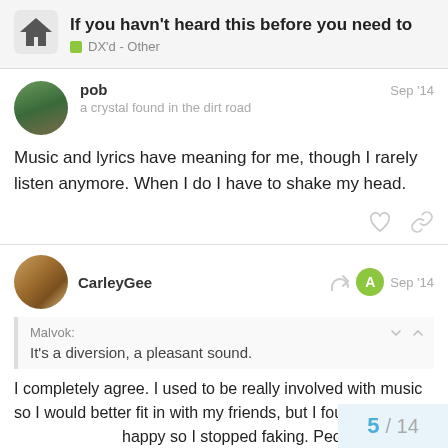If you havn't heard this before you need to — DX'd - Other
pob
a crystal found in the dirt road
Sep '14
Music and lyrics have meaning for me, though I rarely listen anymore. When I do I have to shake my head.
CarleyGee
Sep '14
Malvok:
It's a diversion, a pleasant sound.
I completely agree. I used to be really involved with music so I would better fit in with my friends, but I fou happy so I stopped faking. People mention